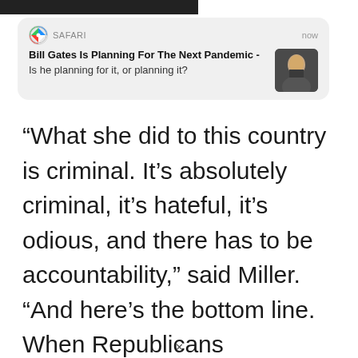[Figure (screenshot): iOS Safari push notification card showing headline 'Bill Gates Is Planning For The Next Pandemic - Is he planning for it, or planning it?' with a thumbnail photo of Bill Gates, labeled 'SAFARI' and timestamped 'now'.]
“What she did to this country is criminal. It’s absolutely criminal, it’s hateful, it’s odious, and there has to be accountability,” said Miller. “And here’s the bottom line. When Republicans